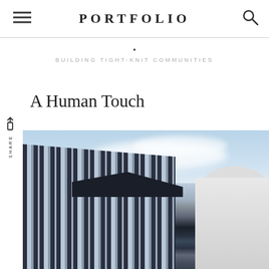PORTFOLIO
•
BUILDING TIGHT-KNIT COMMUNITIES
A Human Touch
SHARE
[Figure (photo): Exterior photo of modern high-rise building with horizontal striped facade, dark angular roof/canopy element, and a white classical style building visible on the right, against a blue sky with clouds]